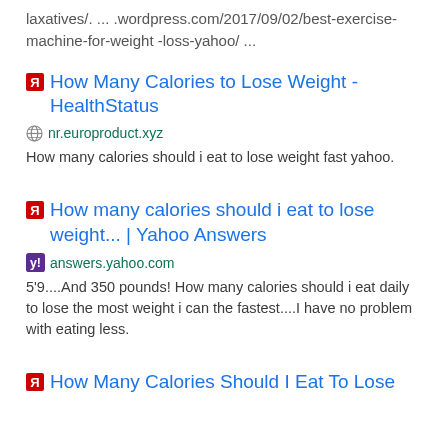laxatives/. ... .wordpress.com/2017/09/02/best-exercise-machine-for-weight-loss-yahoo/ ...
How Many Calories to Lose Weight - HealthStatus
nr.europroduct.xyz
How many calories should i eat to lose weight fast yahoo.
How many calories should i eat to lose weight... | Yahoo Answers
answers.yahoo.com
5'9....And 350 pounds! How many calories should i eat daily to lose the most weight i can the fastest....I have no problem with eating less.
How Many Calories Should I Eat To Lose Weight?